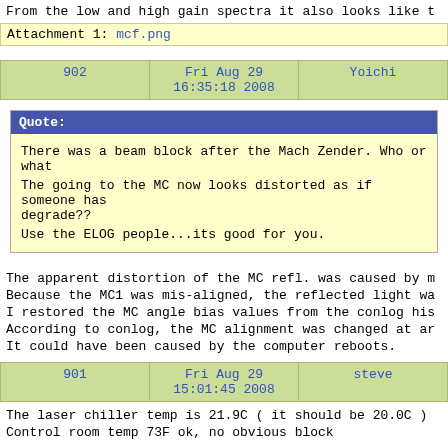From the low and high gain spectra it also looks like t
Attachment 1: mcf.png
| 902 | Fri Aug 29 16:35:18 2008 | Yoichi |
| --- | --- | --- |
Quote:
There was a beam block after the Mach Zender. Who or what
The going to the MC now looks distorted as if someone has degrade??
Use the ELOG people...its good for you.
The apparent distortion of the MC refl. was caused by m
Because the MC1 was mis-aligned, the reflected light wa
I restored the MC angle bias values from the conlog his
According to conlog, the MC alignment was changed at ar
It could have been caused by the computer reboots.
| 901 | Fri Aug 29 15:01:45 2008 | steve |
| --- | --- | --- |
The laser chiller temp is 21.9C ( it should be 20.0C )
Control room temp 73F ok, no obvious block

Ops, there is a piece of paper blocking the intake of t